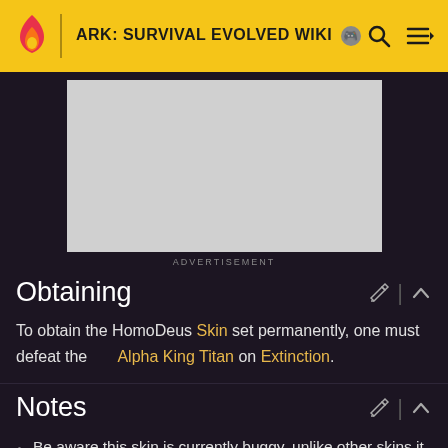ARK: SURVIVAL EVOLVED WIKI
[Figure (screenshot): Advertisement placeholder — grey rectangle with ADVERTISEMENT label below]
Obtaining
To obtain the HomoDeus Skin set permanently, one must defeat the Alpha King Titan on Extinction.
Notes
Be aware this skin is currently buggy, unlike other skins it will disappear if removed from an item or if